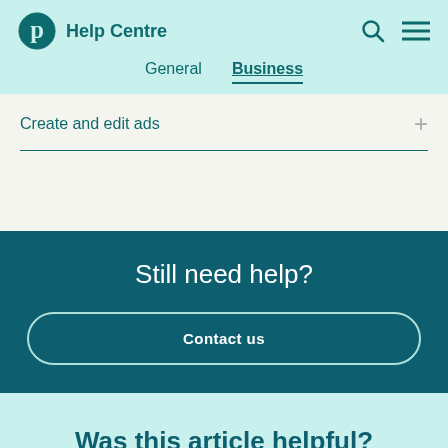Help Centre
General
Business
Create and edit ads
Still need help?
Contact us
Was this article helpful?